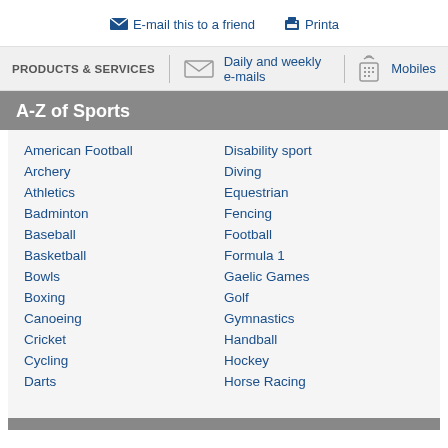E-mail this to a friend   Printa
PRODUCTS & SERVICES   Daily and weekly e-mails   Mobiles
A-Z of Sports
American Football
Archery
Athletics
Badminton
Baseball
Basketball
Bowls
Boxing
Canoeing
Cricket
Cycling
Darts
Disability sport
Diving
Equestrian
Fencing
Football
Formula 1
Gaelic Games
Golf
Gymnastics
Handball
Hockey
Horse Racing